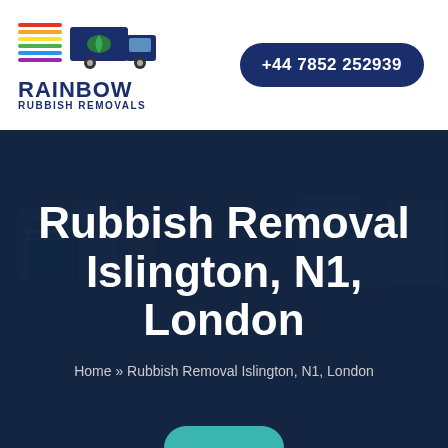[Figure (logo): Rainbow Rubbish Removals logo with colorful horizontal lines and a dark blue delivery truck icon]
+44 7852 252939
Rubbish Removal Islington, N1, London
Home » Rubbish Removal Islington, N1, London